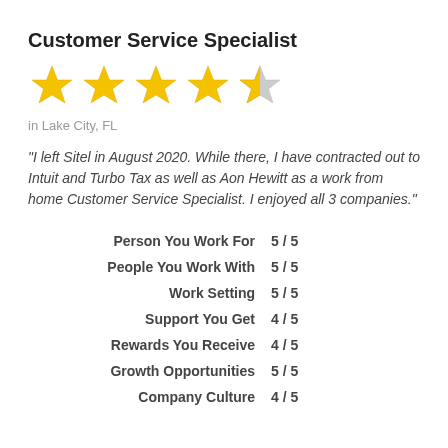Customer Service Specialist
[Figure (other): 4.5 out of 5 stars rating shown as 4 full gold stars and 1 half gold/grey star]
in Lake City, FL
"I left Sitel in August 2020. While there, I have contracted out to Intuit and Turbo Tax as well as Aon Hewitt as a work from home Customer Service Specialist. I enjoyed all 3 companies."
| Category | Score |
| --- | --- |
| Person You Work For | 5 / 5 |
| People You Work With | 5 / 5 |
| Work Setting | 5 / 5 |
| Support You Get | 4 / 5 |
| Rewards You Receive | 4 / 5 |
| Growth Opportunities | 5 / 5 |
| Company Culture | 4 / 5 |